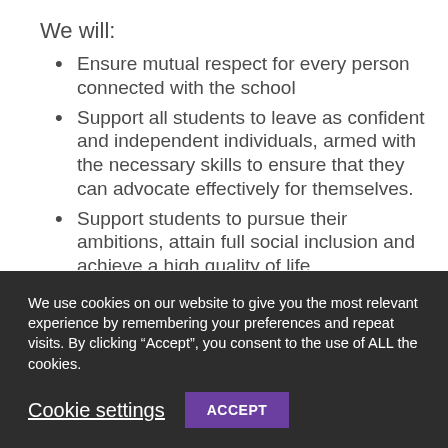We will:
Ensure mutual respect for every person connected with the school
Support all students to leave as confident and independent individuals, armed with the necessary skills to ensure that they can advocate effectively for themselves.
Support students to pursue their ambitions, attain full social inclusion and achieve a high quality of life.
Provide a curriculum that is broad and balanced, engaging and interesting
We use cookies on our website to give you the most relevant experience by remembering your preferences and repeat visits. By clicking “Accept”, you consent to the use of ALL the cookies.
Cookie settings  ACCEPT